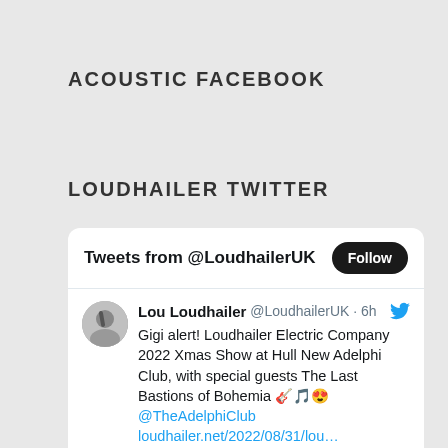ACOUSTIC FACEBOOK
LOUDHAILER TWITTER
[Figure (screenshot): Twitter widget showing tweets from @LoudhailerUK with a Follow button. A tweet from Lou Loudhailer (@LoudhailerUK · 6h) reads: Gigi alert! Loudhailer Electric Company 2022 Xmas Show at Hull New Adelphi Club, with special guests The Last Bastions of Bohemia 🎸🎵😍 @TheAdelphiClub loudhailer.net/2022/08/31/lou… with a colourful image strip at the bottom.]